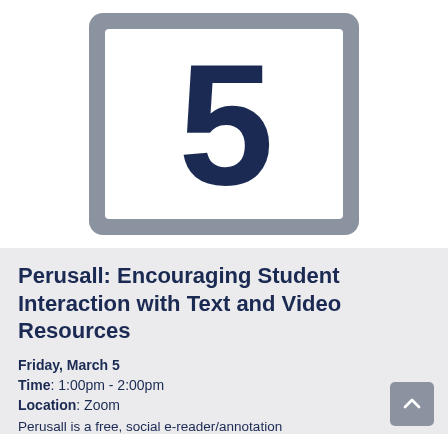[Figure (other): A large bold numeral 5 in dark navy color inside a white rounded rectangle tile, set within a grey rounded rectangle background]
Perusall: Encouraging Student Interaction with Text and Video Resources
Friday, March 5
Time: 1:00pm - 2:00pm
Location: Zoom
Perusall is a free, social e-reader/annotation